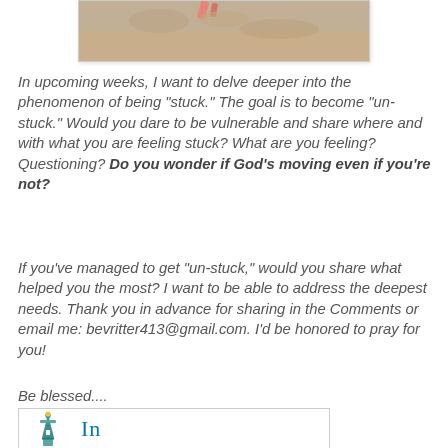[Figure (photo): Partial view of a sandy beach scene with a pink/coral object visible, cropped at top]
In upcoming weeks, I want to delve deeper into the phenomenon of being "stuck." The goal is to become "un-stuck." Would you dare to be vulnerable and share where and with what you are feeling stuck?  What are you feeling? Questioning? Do you wonder if God's moving even if you're not?
If you've managed to get "un-stuck," would you share what helped you the most?  I want to be able to address the deepest needs.  Thank you in advance for sharing in the Comments or email me:  bevritter413@gmail.com.  I'd be honored to pray for you!
Be blessed....
[Figure (logo): A small teal/blue lighthouse logo icon next to a LinkedIn 'In' logo text in blue]